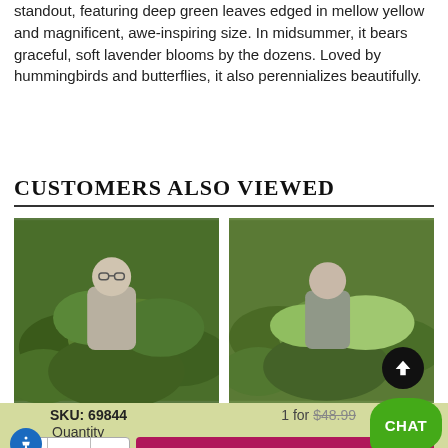standout, featuring deep green leaves edged in mellow yellow and magnificent, awe-inspiring size. In midsummer, it bears graceful, soft lavender blooms by the dozens. Loved by hummingbirds and butterflies, it also perennializes beautifully.
CUSTOMERS ALSO VIEWED
[Figure (photo): Photo of a man standing behind large hosta plants with big green leaves in a garden setting]
[Figure (photo): Photo of a man peering over large hosta plants with green and yellow-edged leaves in a nursery field]
SKU: 69844
1 for $48.99
Quantity
ADD TO CART